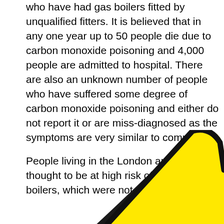who have had gas boilers fitted by unqualified fitters. It is believed that in any one year up to 50 people die due to carbon monoxide poisoning and 4,000 people are admitted to hospital. There are also an unknown number of people who have suffered some degree of carbon monoxide poisoning and either do not report it or are miss-diagnosed as the symptoms are very similar to common flu.
People living in the London area are thought to be at high risk of having boilers, which were not fitted correctly,
[Figure (illustration): Partial view of a yellow warning triangle sign with rounded corners and thick black border, cropped at bottom-left. The triangle is bright yellow with a black outline, visible in the lower-right portion of the page.]